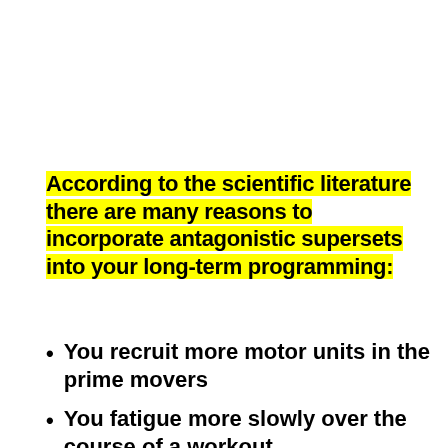According to the scientific literature there are many reasons to incorporate antagonistic supersets into your long-term programming:
You recruit more motor units in the prime movers
You fatigue more slowly over the course of a workout
You dramatically increase your training density